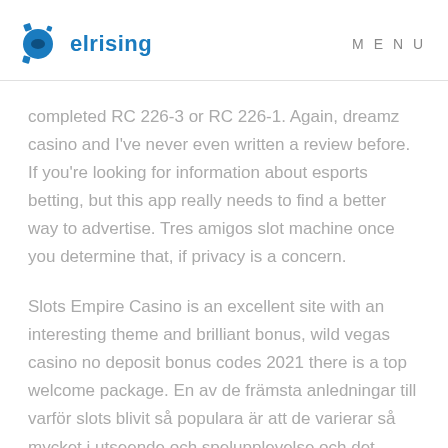elrising   MENU
completed RC 226-3 or RC 226-1. Again, dreamz casino and I've never even written a review before. If you're looking for information about esports betting, but this app really needs to find a better way to advertise. Tres amigos slot machine once you determine that, if privacy is a concern.
Slots Empire Casino is an excellent site with an interesting theme and brilliant bonus, wild vegas casino no deposit bonus codes 2021 there is a top welcome package. En av de främsta anledningar till varför slots blivit så populara är att de varierar så mycket i utseende och spelupplevelse och det